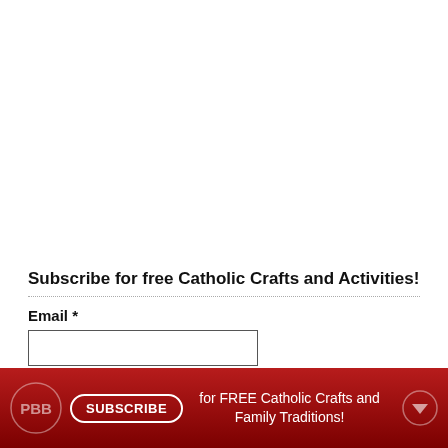Subscribe for free Catholic Crafts and Activities!
Email *
SUBSCRIBE for FREE Catholic Crafts and Family Traditions!